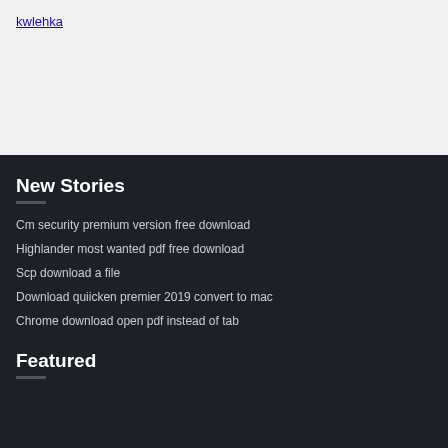kwlehka
New Stories
Cm security premium version free download
Highlander most wanted pdf free download
Scp download a file
Download quiicken premier 2019 convert to mac
Chrome download open pdf instead of tab
Featured